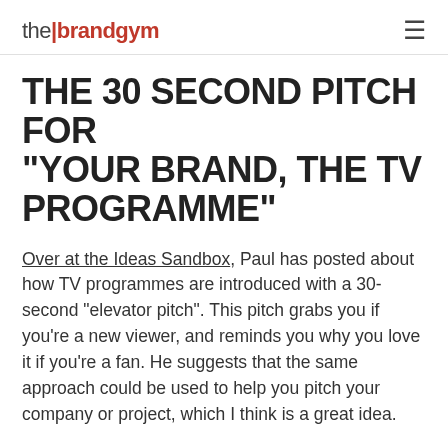the brandgym
THE 30 SECOND PITCH FOR “YOUR BRAND, THE TV PROGRAMME”
Over at the Ideas Sandbox, Paul has posted about how TV programmes are introduced with a 30-second "elevator pitch". This pitch grabs you if you’re a new viewer, and reminds you why you love it if you’re a fan. He suggests that the same approach could be used to help you pitch your company or project, which I think is a great idea.
He has videos with the intros for famous programmes like Star Trek, and the 6 Million Dollar Man...